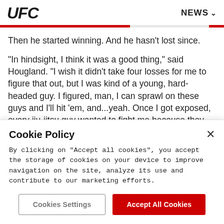UFC   NEWS
Then he started winning. And he hasn't lost since.
“In hindsight, I think it was a good thing,” said Hougland. “I wish it didn’t take four losses for me to figure that out, but I was kind of a young, hard-headed guy. I figured, man, I can sprawl on these guys and I’ll hit ’em, and…yeah. Once I got exposed, every jiu-jitsu guy wanted to fight me because they saw I had no ground game, and the losses started racking up.”
Cookie Policy
By clicking on “Accept all cookies”, you accept the storage of cookies on your device to improve navigation on the site, analyze its use and contribute to our marketing efforts.
Cookies Settings
Accept All Cookies